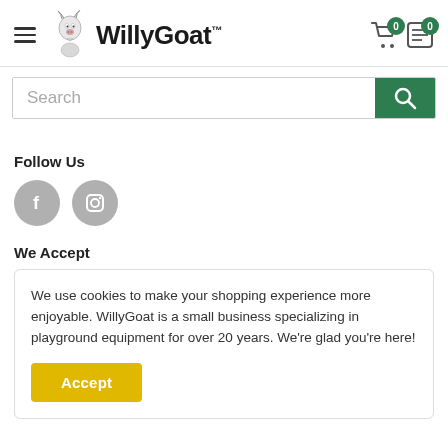[Figure (logo): WillyGoat logo with goat illustration and brand name]
[Figure (screenshot): Search bar with green search button]
Follow Us
[Figure (illustration): Social media icons: Facebook and Instagram circles]
We Accept
We use cookies to make your shopping experience more enjoyable. WillyGoat is a small business specializing in playground equipment for over 20 years. We're glad you're here!
Accept